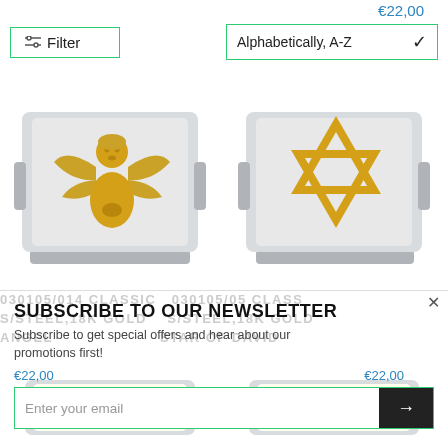€22,00
Filter
Alphabetically, A-Z
[Figure (photo): Two Nomination charm bracelet links side by side. Left: stainless steel and 18k gold link with a praying angel motif in gold. Right: stainless steel and 18k gold link with a Star of David motif in gold.]
SUBSCRIBE TO OUR NEWSLETTER
Subscribe to get special offers and hear about our promotions first!
€22,00
€22,00
Enter your email
[Figure (photo): Partial view of two more Nomination charm bracelet links at the bottom of the page.]